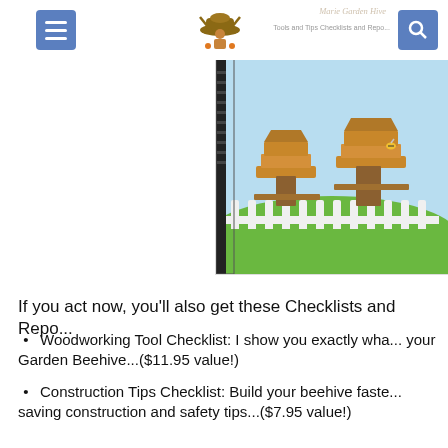Marie Garden Hive — Tools and Tips Checklists and Reports
[Figure (photo): Book/report cover showing wooden beehives on green grass with white picket fence, blue sky background]
If you act now, you'll also get these Checklists and Repo...
Woodworking Tool Checklist: I show you exactly wha... your Garden Beehive...($11.95 value!)
Construction Tips Checklist: Build your beehive faste... saving construction and safety tips...($7.95 value!)